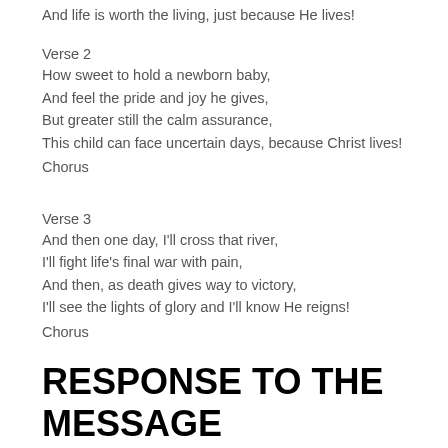And life is worth the living, just because He lives!
Verse 2
How sweet to hold a newborn baby,
And feel the pride and joy he gives,
But greater still the calm assurance,
This child can face uncertain days, because Christ lives!
Chorus
Verse 3
And then one day, I'll cross that river,
I'll fight life's final war with pain,
And then, as death gives way to victory,
I'll see the lights of glory and I'll know He reigns!
Chorus
RESPONSE TO THE MESSAGE